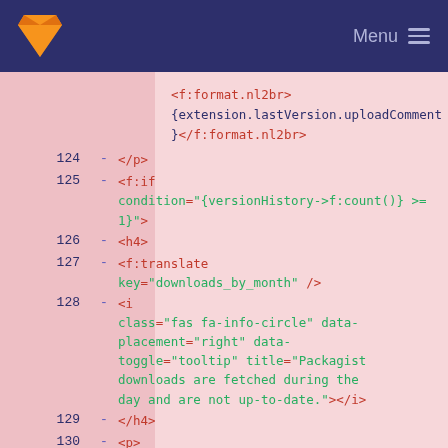Menu
<f:format.nl2br>
{extension.lastVersion.uploadComment
}</f:format.nl2br>
124 - </p>
125 - <f:if condition="{versionHistory->f:count()} >= 1">
126 - <h4>
127 - <f:translate key="downloads_by_month" />
128 - <i class="fas fa-info-circle" data-placement="right" data-toggle="tooltip" title="Packagist downloads are fetched during the day and are not up-to-date."></i>
129 - </h4>
130 - <p>
131 -